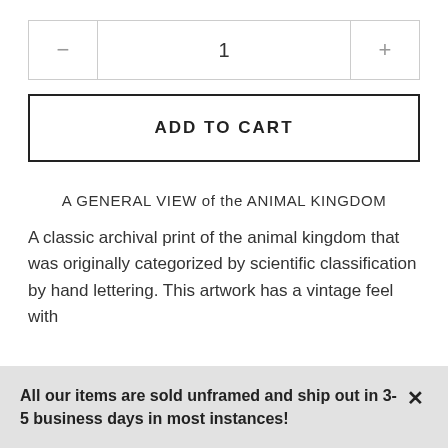| minus | quantity | plus |
| --- | --- | --- |
| − | 1 | + |
ADD TO CART
A GENERAL VIEW of the ANIMAL KINGDOM
A classic archival print of the animal kingdom that was originally categorized by scientific classification by hand lettering. This artwork has a vintage feel with
All our items are sold unframed and ship out in 3-5 business days in most instances!